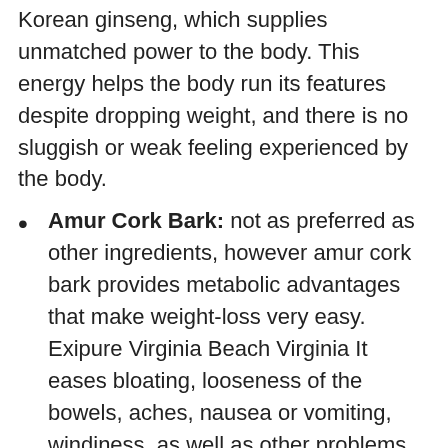Korean ginseng, which supplies unmatched power to the body. This energy helps the body run its features despite dropping weight, and there is no sluggish or weak feeling experienced by the body.
Amur Cork Bark: not as preferred as other ingredients, however amur cork bark provides metabolic advantages that make weight-loss very easy. Exipure Virginia Beach Virginia It eases bloating, looseness of the bowels, aches, nausea or vomiting, windiness, as well as other problems that are common in overweight individuals.
Quercetin: Following on this list is quercetin, a component offering benefits for blood pressure, heart wellness, and also vessel health. Some research studies also prove its